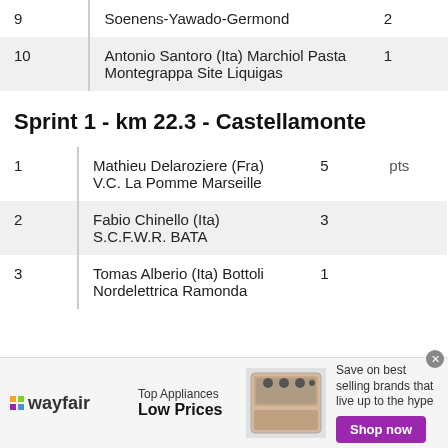| Rank | Name | Points |
| --- | --- | --- |
| 9 | Soenens-Yawado-Germond | 2 |
| 10 | Antonio Santoro (Ita) Marchiol Pasta Montegrappa Site Liquigas | 1 |
Sprint 1 - km 22.3 - Castellamonte
| Rank | Name | Points |  |
| --- | --- | --- | --- |
| 1 | Mathieu Delaroziere (Fra) V.C. La Pomme Marseille | 5 | pts |
| 2 | Fabio Chinello (Ita) S.C.F.W.R. BATA | 3 |  |
| 3 | Tomas Alberio (Ita) Bottoli Nordelettrica Ramonda | 1 |  |
[Figure (other): Wayfair advertisement banner: Top Appliances Low Prices, image of stove/oven appliance, Shop now button]